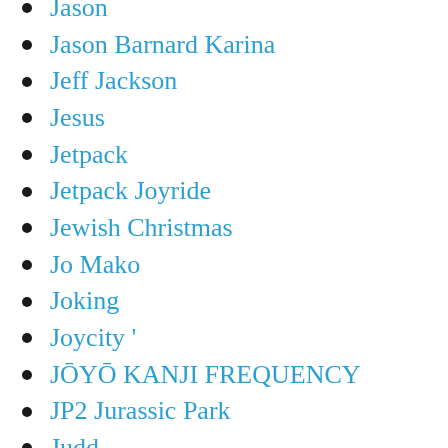Jason
Jason Barnard Karina
Jeff Jackson
Jesus
Jetpack
Jetpack Joyride
Jewish Christmas
Jo Mako
Joking
Joycity '
JŌYŌ KANJI FREQUENCY
JP2 Jurassic Park
Judd
Jump Into
Jumping
Jūn:
Jungle Book